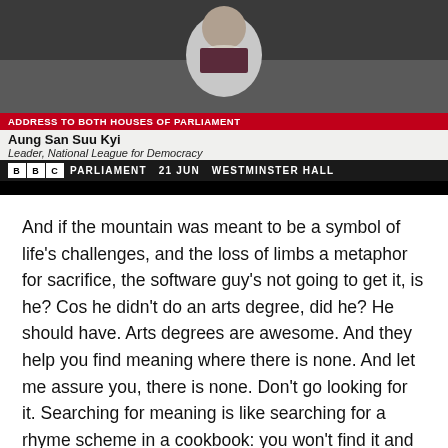[Figure (screenshot): YouTube video screenshot showing BBC Parliament broadcast of Aung San Suu Kyi address to both houses of Parliament on 21 Jun at Westminster Hall. Lower thirds show: red bar 'ADDRESS TO BOTH HOUSES OF PARLIAMENT', name bar 'Aung San Suu Kyi / Leader, National League for Democracy', BBC Parliament bar '21 JUN WESTMINSTER HALL'.]
And if the mountain was meant to be a symbol of life's challenges, and the loss of limbs a metaphor for sacrifice, the software guy's not going to get it, is he? Cos he didn't do an arts degree, did he? He should have. Arts degrees are awesome. And they help you find meaning where there is none. And let me assure you, there is none. Don't go looking for it. Searching for meaning is like searching for a rhyme scheme in a cookbook: you won't find it and you'll bugger up your soufflé.
Point being, I'm not an inspirational speaker. I've never